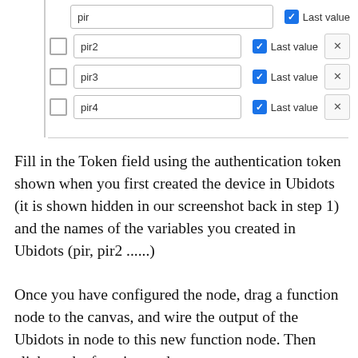[Figure (screenshot): UI configuration panel showing four rows with sensor variable names (pir, pir2, pir3, pir4), each with a blue checked checkbox labeled 'Last value', and rows 2-4 having an unchecked checkbox on the left and an X delete button on the right.]
Fill in the Token field using the authentication token shown when you first created the device in Ubidots (it is shown hidden in our screenshot back in step 1) and the names of the variables you created in Ubidots (pir, pir2 ......)
Once you have configured the node, drag a function node to the canvas, and wire the output of the Ubidots in node to this new function node. Then click on the function node